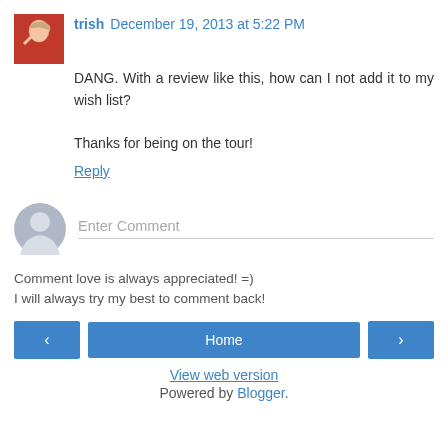trish December 19, 2013 at 5:22 PM
DANG. With a review like this, how can I not add it to my wish list?

Thanks for being on the tour!
Reply
[Figure (other): Enter Comment input field with user avatar icon]
Comment love is always appreciated! =)
I will always try my best to comment back!
< Home > View web version Powered by Blogger.